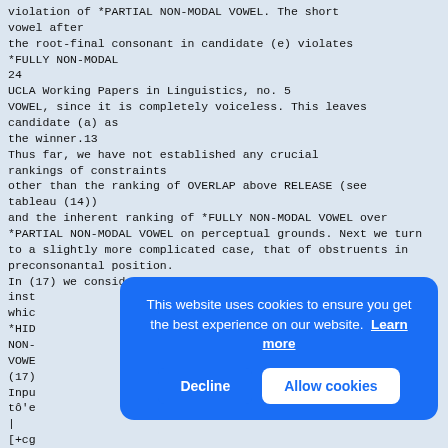violation of *PARTIAL NON-MODAL VOWEL. The short vowel after
the root-final consonant in candidate (e) violates
*FULLY NON-MODAL
24
UCLA Working Papers in Linguistics, no. 5
VOWEL, since it is completely voiceless. This leaves
candidate (a) as
the winner.13
Thus far, we have not established any crucial rankings of constraints
other than the ranking of OVERLAP above RELEASE (see tableau (14))
and the inherent ranking of *FULLY NON-MODAL VOWEL over
*PARTIAL NON-MODAL VOWEL on perceptual grounds. Next we turn
to a slightly more complicated case, that of obstruents in
preconsonantal position.
In (17) we consider a preconsonantal
inst
whic
*HID
NON-
VOWE
(17)
Inpu
tô'e
|
[+cg
Dr  a.to.smej  g
XX
[Figure (screenshot): Cookie consent overlay with blue background. Text: 'This website uses cookies to ensure you get the best experience on our website. Learn more'. Two buttons: 'Decline' (left, white text on blue) and 'Allow cookies' (right, blue text on white).]